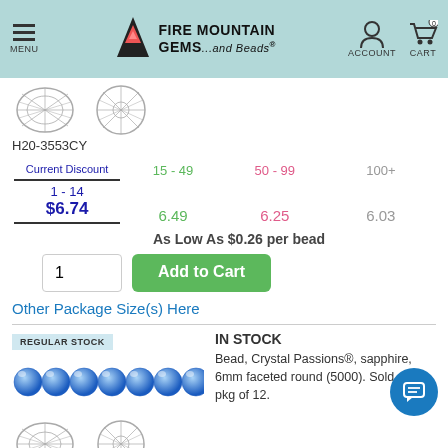[Figure (screenshot): Fire Mountain Gems and Beads website header with logo, menu, account, and cart icons]
[Figure (illustration): Two bead diagrams (side and front view) - faceted round bead technical illustrations]
H20-3553CY
| Current Discount | 15 - 49 | 50 - 99 | 100+ |
| --- | --- | --- | --- |
| 1 - 14 | 15 - 49 | 50 - 99 | 100+ |
| $6.74 | 6.49 | 6.25 | 6.03 |
As Low As $0.26 per bead
Other Package Size(s) Here
REGULAR STOCK
IN STOCK
Bead, Crystal Passions®, sapphire, 6mm faceted round (5000). Sold per pkg of 12.
[Figure (photo): Row of sapphire blue faceted round crystal beads (Crystal Passions)]
[Figure (illustration): Two bead diagrams (side and front view) at bottom of page]